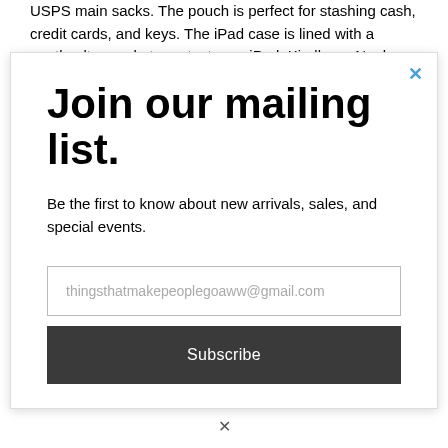USPS main sacks. The pouch is perfect for stashing cash, credit cards, and keys. The iPad case is lined with a gentle ultrasuede to protect your iPad, Kindle, or Nook with an
Join our mailing list.
Be the first to know about new arrivals, sales, and special events.
thingsthatmakepeoplegoaww@gmail.com
Subscribe